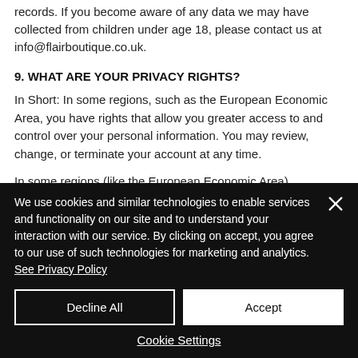records. If you become aware of any data we may have collected from children under age 18, please contact us at info@flairboutique.co.uk.
9. WHAT ARE YOUR PRIVACY RIGHTS?
In Short: In some regions, such as the European Economic Area, you have rights that allow you greater access to and control over your personal information. You may review, change, or terminate your account at any time.
In some regions (like the European Economic Area),
We use cookies and similar technologies to enable services and functionality on our site and to understand your interaction with our service. By clicking on accept, you agree to our use of such technologies for marketing and analytics. See Privacy Policy
Decline All
Accept
Cookie Settings